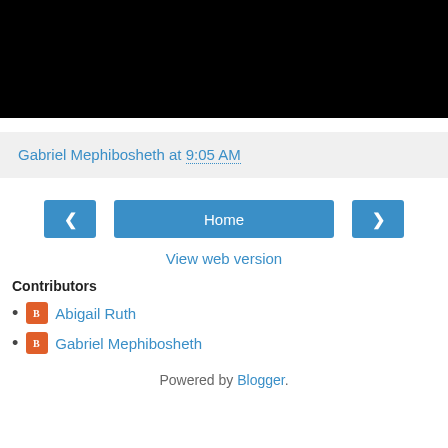[Figure (photo): Black rectangle image area at top of page]
Gabriel Mephibosheth at 9:05 AM
[Figure (infographic): Navigation bar with left arrow button, Home button, and right arrow button]
View web version
Contributors
Abigail Ruth
Gabriel Mephibosheth
Powered by Blogger.